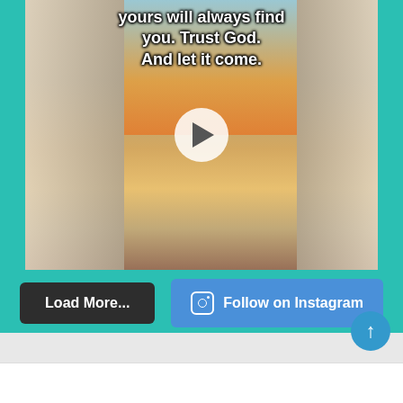[Figure (screenshot): Social media post screenshot showing a woman standing between large stone columns at a monument (Lincoln Memorial) with a sunset in the background. Text overlay reads 'yours will always find you. Trust God. And let it come.' with a play button overlay. Below are two buttons: 'Load More...' (dark) and 'Follow on Instagram' (blue). A teal/turquoise background surrounds the image. A circular scroll-to-top button appears at the bottom right.]